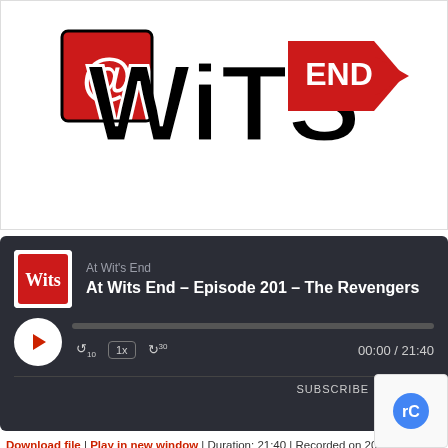[Figure (logo): At Wit's End podcast logo — red arrow sign with '@' symbol on left, black stylized 'Wits' text, red arrow on right with 'END' text in white]
[Figure (screenshot): Podcast audio player widget with dark background showing episode 'At Wits End – Episode 201 – The Revengers', play button, progress bar, speed control (1x), skip buttons, time 00:00/21:40, SUBSCRIBE and SHARE buttons]
Download file | Play in new window | Duration: 21:40 | Recorded on 2018-01-13
As we kick off Season Two of At Wits End we wanted to have something spec and we sure found it with a special guest appearance by Southern California Revengers"! This troupe not only does a comic book style of long form improv, but